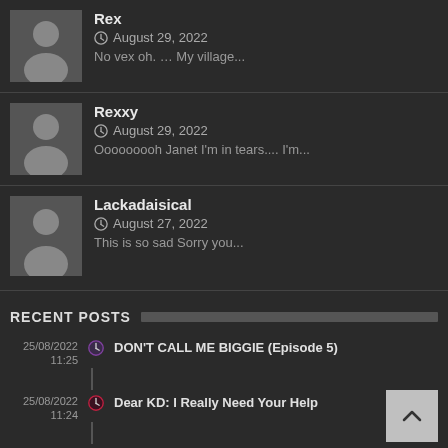Rex
August 29, 2022
No vex oh. … My village...
Rexxy
August 29, 2022
Ooooooooh Janet I'm in tears.... I'm...
Lackadaisical
August 27, 2022
This is so sad Sorry you...
RECENT POSTS
25/08/2022 11:25 — DON'T CALL ME BIGGIE (Episode 5)
25/08/2022 11:24 — Dear KD: I Really Need Your Help
24/08/2022 11:32 — THE CONSEQUENCE OF DIFFERENCE (A Kito Story)